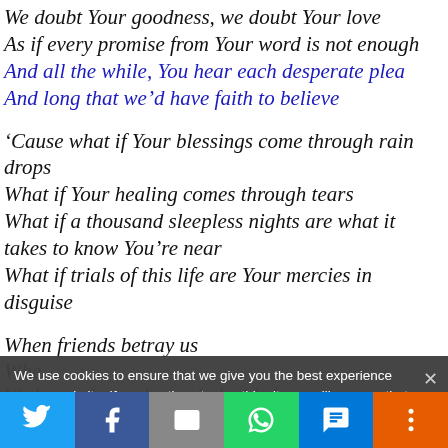We doubt Your goodness, we doubt Your love
As if every promise from Your word is not enough
And all the while, You hear each desperate plea
And long that we’d have faith to believe
‘Cause what if Your blessings come through rain drops
What if Your healing comes through tears
What if a thousand sleepless nights are what it takes to know You’re near
What if trials of this life are Your mercies in disguise
When friends betray us
When darkness seems to win
We know that pain reminds this heart